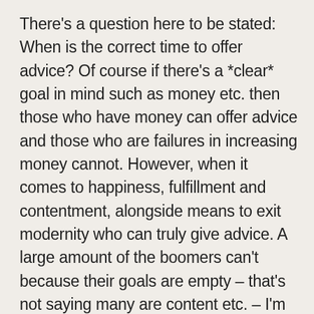There's a question here to be stated: When is the correct time to offer advice? Of course if there's a *clear* goal in mind such as money etc. then those who have money can offer advice and those who are failures in increasing money cannot. However, when it comes to happiness, fulfillment and contentment, alongside means to exit modernity who can truly give advice. A large amount of the boomers can't because their goals are empty – that's not saying many are content etc. – I'm simply giving advice which I have found has made my life more fulfilling and meaningful. I'd like to think my readership is intelligent enough to not simply take everything at face value. And I'd like to make is even clearer that I by no means have my life 'sorted out', not even close, but I have found many things in the past few years that have made me happier and my life more meaningful, and I see no